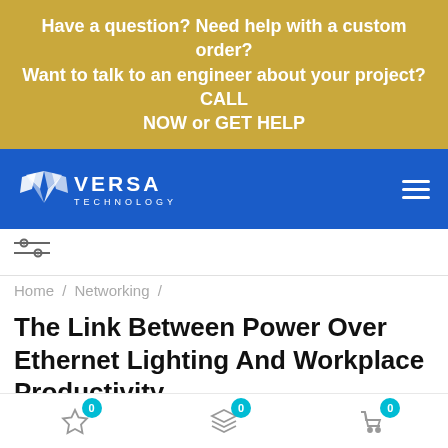Have a question? Need help with a custom order? Want to talk to an engineer about your project? CALL NOW or GET HELP
[Figure (logo): Versa Technology logo with diamond V shape and company name on blue navigation bar with hamburger menu]
[Figure (other): Filter/settings icon in a white bar above breadcrumb navigation]
Home / Networking /
The Link Between Power Over Ethernet Lighting And Workplace Productivity
[Figure (photo): Partial photo showing a dark background with a yellow circular lamp or light fixture visible on the right side]
0  0  0 (icons: star/wishlist, layers/stack, shopping cart)